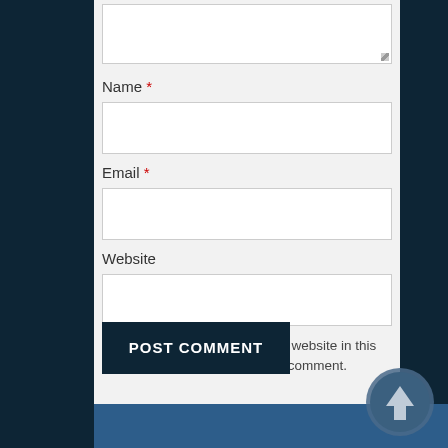[Figure (screenshot): Web comment form showing a textarea at top (partially visible), followed by Name field with red asterisk, Email field with red asterisk, Website field, a checkbox with label 'Save my name, email, and website in this browser for the next time I comment.', a POST COMMENT button, and a back-to-top arrow circle button at bottom right. Dark navy background surrounds a light gray form panel. Blue footer bar at the bottom.]